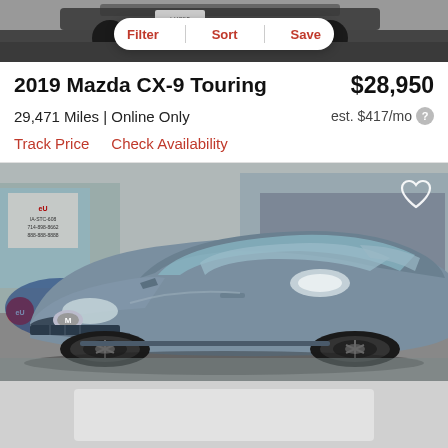[Figure (photo): Top partial view of a dark car in a dealership/parking lot, seen from the bumper, with car plate visible]
Filter  Sort  Save
2019 Mazda CX-9 Touring
$28,950
29,471 Miles | Online Only
est. $417/mo
Track Price    Check Availability
[Figure (photo): Blue/grey 2019 Mazda CX-9 Touring SUV parked inside a dealership showroom, front three-quarter view, with black wheels]
[Figure (photo): Blurred/redacted content at the bottom of the page]